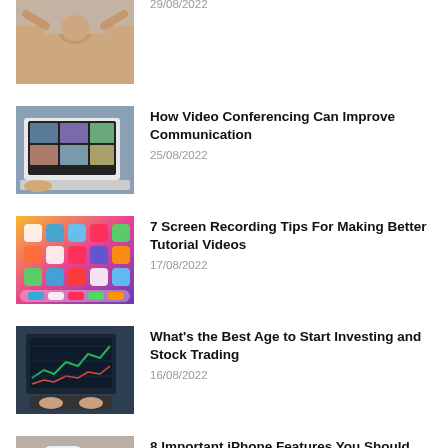[Figure (photo): Person lying down with hands behind head]
29/08/2022
[Figure (photo): Laptop showing video conferencing with multiple participants]
How Video Conferencing Can Improve Communication
25/08/2022
[Figure (photo): Colorful mobile phone home screen with app icons]
7 Screen Recording Tips For Making Better Tutorial Videos
17/08/2022
[Figure (photo): Person typing on laptop with financial data on screen]
What's the Best Age to Start Investing and Stock Trading
16/08/2022
[Figure (photo): Old iPod or iPhone on a table with accessories]
8 Important iPhone Features You Should Already Know
15/08/2022